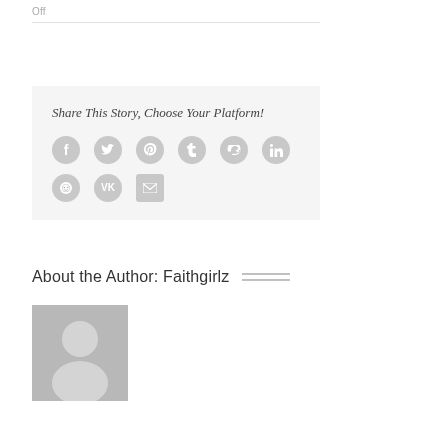Off
Share This Story, Choose Your Platform!
[Figure (infographic): Social media sharing icons: Facebook, Twitter, Pinterest, Tumblr, Google+, LinkedIn, Reddit, VK, Email]
About the Author: Faithgirlz
[Figure (photo): Default author avatar placeholder — grey square with silhouette of a person]